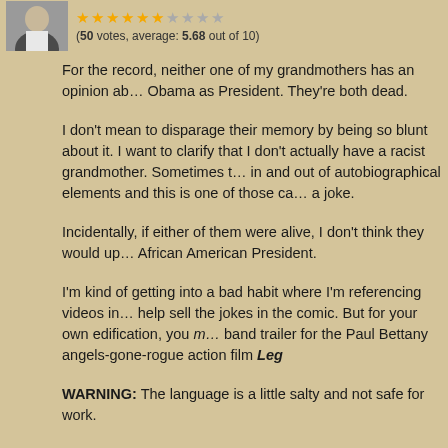[Figure (photo): Small avatar photo of a person in a white collared shirt]
(50 votes, average: 5.68 out of 10)
For the record, neither one of my grandmothers has an opinion about Obama as President. They're both dead.
I don't mean to disparage their memory by being so blunt about it. I want to clarify that I don't actually have a racist grandmother. Sometimes the comic weaves in and out of autobiographical elements and this is one of those cases. It's just a joke.
Incidentally, if either of them were alive, I don't think they would upset about an African American President.
I'm kind of getting into a bad habit where I'm referencing videos in my blog posts to help sell the jokes in the comic. But for your own edification, you might enjoy the red band trailer for the Paul Bettany angels-gone-rogue action film Leg
WARNING: The language is a little salty and not safe for work.